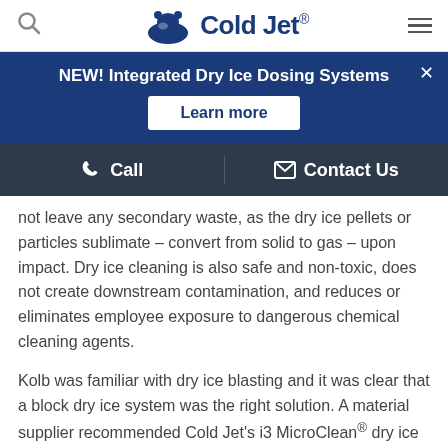Cold Jet
[Figure (logo): Cold Jet logo with polar bear icon and wordmark]
NEW! Integrated Dry Ice Dosing Systems
Learn more
Call   Contact Us
not leave any secondary waste, as the dry ice pellets or particles sublimate – convert from solid to gas – upon impact. Dry ice cleaning is also safe and non-toxic, does not create downstream contamination, and reduces or eliminates employee exposure to dangerous chemical cleaning agents.
Kolb was familiar with dry ice blasting and it was clear that a block dry ice system was the right solution. A material supplier recommended Cold Jet's i3 MicroClean® dry ice cleaning